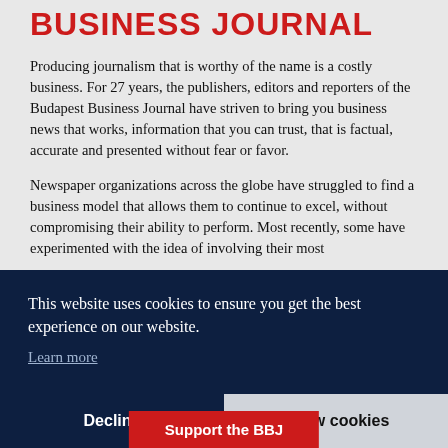BUSINESS JOURNAL
Producing journalism that is worthy of the name is a costly business. For 27 years, the publishers, editors and reporters of the Budapest Business Journal have striven to bring you business news that works, information that you can trust, that is factual, accurate and presented without fear or favor.
Newspaper organizations across the globe have struggled to find a business model that allows them to continue to excel, without compromising their ability to perform. Most recently, some have experimented with the idea of involving their most
This website uses cookies to ensure you get the best experience on our website.
Learn more
Decline
Allow cookies
Support the BBJ